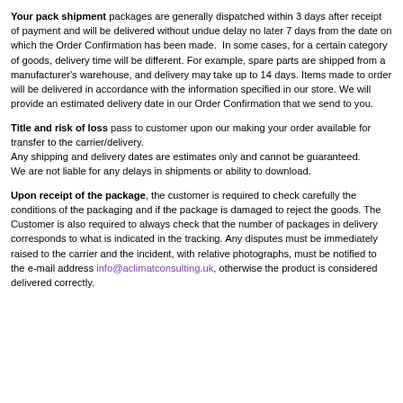Your pack shipment packages are generally dispatched within 3 days after receipt of payment and will be delivered without undue delay no later 7 days from the date on which the Order Confirmation has been made. In some cases, for a certain category of goods, delivery time will be different. For example, spare parts are shipped from a manufacturer's warehouse, and delivery may take up to 14 days. Items made to order will be delivered in accordance with the information specified in our store. We will provide an estimated delivery date in our Order Confirmation that we send to you.
Title and risk of loss pass to customer upon our making your order available for transfer to the carrier/delivery. Any shipping and delivery dates are estimates only and cannot be guaranteed. We are not liable for any delays in shipments or ability to download.
Upon receipt of the package, the customer is required to check carefully the conditions of the packaging and if the package is damaged to reject the goods. The Customer is also required to always check that the number of packages in delivery corresponds to what is indicated in the tracking. Any disputes must be immediately raised to the carrier and the incident, with relative photographs, must be notified to the e-mail address info@aclimatconsulting.uk, otherwise the product is considered delivered correctly.